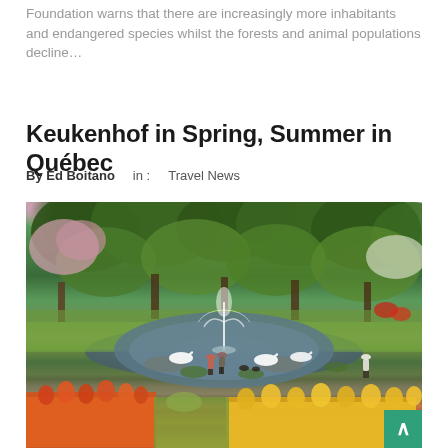Foundation warns that there are increasingly more inhabitants and endangered species whilst the forests and animal populations decline…
Keukenhof in Spring, Summer in Québec
By Ed Boitano   in :  Travel News
[Figure (photo): Garden park scene at Keukenhof with a fountain in a pond, surrounded by lush green trees, colorful tulips (orange/red and yellow) in the foreground, swans on the water, and visitors standing near the water's edge.]